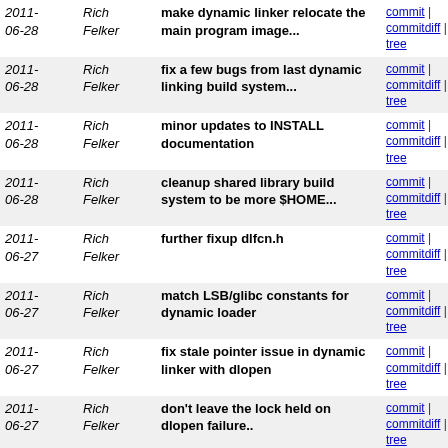| Date | Author | Commit message | Links |
| --- | --- | --- | --- |
| 2011-06-28 | Rich Felker | make dynamic linker relocate the main program image... | commit | commitdiff | tree |
| 2011-06-28 | Rich Felker | fix a few bugs from last dynamic linking build system... | commit | commitdiff | tree |
| 2011-06-28 | Rich Felker | minor updates to INSTALL documentation | commit | commitdiff | tree |
| 2011-06-28 | Rich Felker | cleanup shared library build system to be more $HOME... | commit | commitdiff | tree |
| 2011-06-27 | Rich Felker | further fixup dlfcn.h | commit | commitdiff | tree |
| 2011-06-27 | Rich Felker | match LSB/glibc constants for dynamic loader | commit | commitdiff | tree |
| 2011-06-27 | Rich Felker | fix stale pointer issue in dynamic linker with dlopen | commit | commitdiff | tree |
| 2011-06-27 | Rich Felker | don't leave the lock held on dlopen failure.. | commit | commitdiff | tree |
| 2011-06-27 | Rich Felker | add RTLD_DEFAULT support | commit | commitdiff | tree |
| 2011-06-27 | Rich Felker | in dlopen: don't use null pointer | commit | commitdiff | tree |
| 2011-06-27 | Rich Felker | fix resolving symbols in objects loaded in RTLD_LOCAL... | commit | commitdiff | tree |
| 2011-06-26 | Rich Felker | experimental dlopen/dlsym and dynlink changes needed... | commit | commitdiff | tree |
| 2011-06-26 | Rich Felker | type directives for x86_64 math asm | commit | commitdiff | tree |
| 2011-... | Rich Felker | error handling in dynamic linking... | commit |